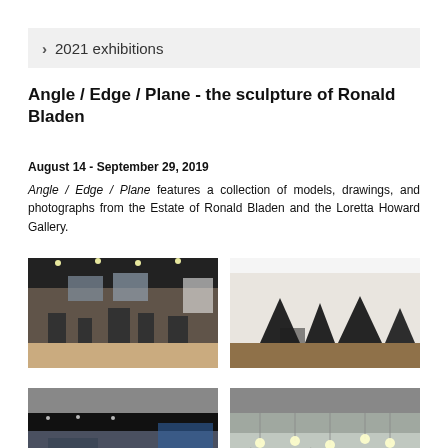> 2021 exhibitions
Angle / Edge / Plane - the sculpture of Ronald Bladen
August 14 - September 29, 2019
Angle / Edge / Plane features a collection of models, drawings, and photographs from the Estate of Ronald Bladen and the Loretta Howard Gallery.
[Figure (photo): Gallery interior showing sculptures on pedestals and photographs on walls with spotlighting]
[Figure (photo): Gallery interior with large dark angular sculptures on wooden floor against white walls]
[Figure (photo): Gallery interior showing artwork and blue-tinted display area]
[Figure (photo): Gallery ceiling with hanging light fixtures and transparent/wire sculptures]